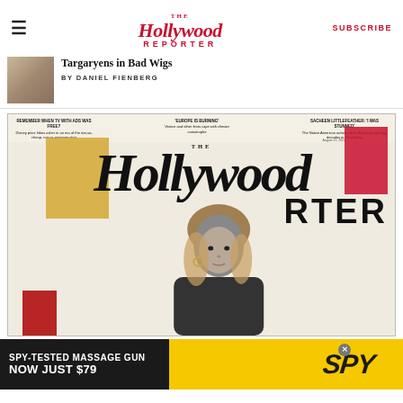The Hollywood Reporter — SUBSCRIBE
Targaryens in Bad Wigs BY DANIEL FIENBERG
[Figure (screenshot): The Hollywood Reporter magazine cover featuring a woman with blonde hair against a collage background with gold and red shapes. Cover lines include 'REMEMBER WHEN TV WITH ADS WAS FREE?', 'EUROPE IS BURNING', and 'SACHEEN LITTLEFEATHER: I WAS STUNNED']
[Figure (infographic): SPY-TESTED MASSAGE GUN advertisement banner: NOW JUST $79, with SPY logo on yellow background]